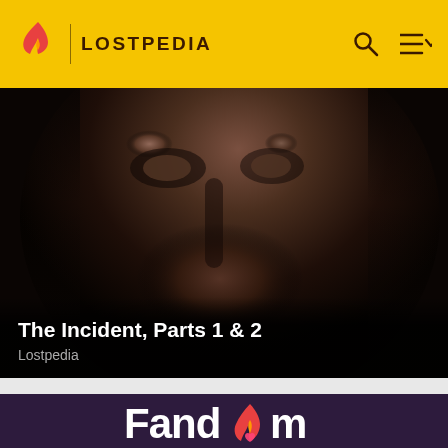LOSTPEDIA
[Figure (photo): Dark close-up photograph of a man's face, dramatically lit, with intense expression. Used as hero banner image.]
The Incident, Parts 1 & 2
Lostpedia
Fandom